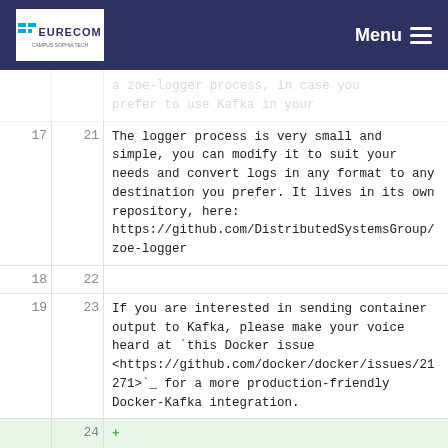EURECOM | Menu
a zoe-logger process, in case you prefer to use Kafka in your
| line_old | line_new | content |
| --- | --- | --- |
| 17 | 21 | The logger process is very small and simple, you can modify it to suit your needs and convert logs in any format to any destination you prefer. It lives in its own repository, here: https://github.com/DistributedSystemsGroup/zoe-logger |
| 18 | 22 |  |
| 19 | 23 | If you are interested in sending container output to Kafka, please make your voice heard at `this Docker issue <https://github.com/docker/docker/issues/21271>`_ for a more production-friendly Docker-Kafka integration. |
|  | 24 | +  |
|  | 25 | + Please note that the ``zoe-logger`` is more or less a toy and can be |